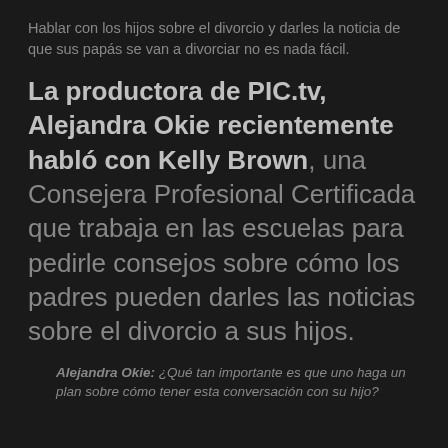Hablar con los hijos sobre el divorcio y darles la noticia de que sus papás se van a divorciar no es nada fácil.
La productora de PIC.tv, Alejandra Okie recientemente habló con Kelly Brown, una Consejera Profesional Certificada que trabaja en las escuelas para pedirle consejos sobre cómo los padres pueden darles las noticias sobre el divorcio a sus hijos.
Alejandra Okie: ¿Qué tan importante es que uno haga un plan sobre cómo tener esta conversación con su hijo?